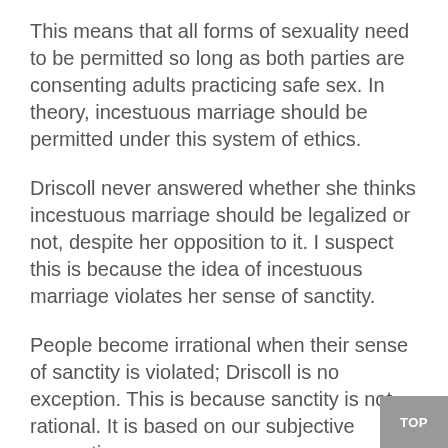This means that all forms of sexuality need to be permitted so long as both parties are consenting adults practicing safe sex. In theory, incestuous marriage should be permitted under this system of ethics.
Driscoll never answered whether she thinks incestuous marriage should be legalized or not, despite her opposition to it. I suspect this is because the idea of incestuous marriage violates her sense of sanctity.
People become irrational when their sense of sanctity is violated; Driscoll is no exception. This is because sanctity is not rational. It is based on our subjective perceptions.
Driscoll argued that all forms of incest are rape, therefore incestuous marriage should be outlawed. She did not provide any evidence to support this